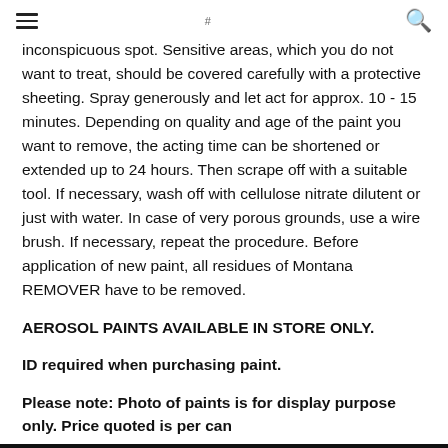≡   # logo   🔍
inconspicuous spot. Sensitive areas, which you do not want to treat, should be covered carefully with a protective sheeting. Spray generously and let act for approx. 10 - 15 minutes. Depending on quality and age of the paint you want to remove, the acting time can be shortened or extended up to 24 hours. Then scrape off with a suitable tool. If necessary, wash off with cellulose nitrate dilutent or just with water. In case of very porous grounds, use a wire brush. If necessary, repeat the procedure. Before application of new paint, all residues of Montana REMOVER have to be removed.
AEROSOL PAINTS AVAILABLE IN STORE ONLY.
ID required when purchasing paint.
Please note: Photo of paints is for display purpose only. Price quoted is per can